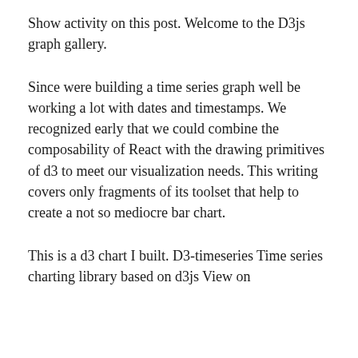Show activity on this post. Welcome to the D3js graph gallery.
Since were building a time series graph well be working a lot with dates and timestamps. We recognized early that we could combine the composability of React with the drawing primitives of d3 to meet our visualization needs. This writing covers only fragments of its toolset that help to create a not so mediocre bar chart.
This is a d3 chart I built. D3-timeseries Time series charting library based on d3js View on